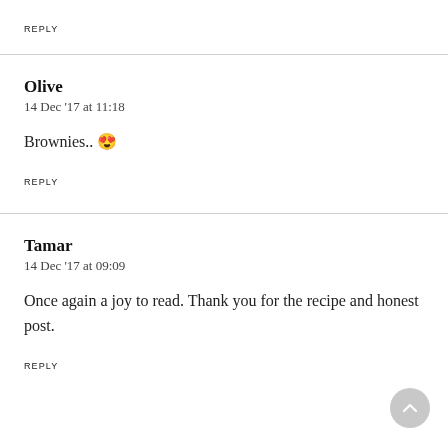REPLY
Olive
14 Dec '17 at 11:18
Brownies.. 😍
REPLY
Tamar
14 Dec '17 at 09:09
Once again a joy to read. Thank you for the recipe and honest post.
REPLY